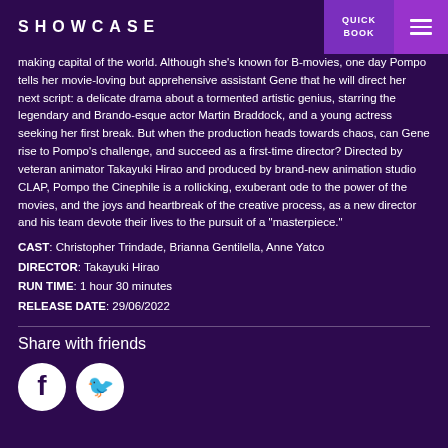SHOWCASE
making capital of the world. Although she's known for B-movies, one day Pompo tells her movie-loving but apprehensive assistant Gene that he will direct her next script: a delicate drama about a tormented artistic genius, starring the legendary and Brando-esque actor Martin Braddock, and a young actress seeking her first break. But when the production heads towards chaos, can Gene rise to Pompo's challenge, and succeed as a first-time director? Directed by veteran animator Takayuki Hirao and produced by brand-new animation studio CLAP, Pompo the Cinephile is a rollicking, exuberant ode to the power of the movies, and the joys and heartbreak of the creative process, as a new director and his team devote their lives to the pursuit of a "masterpiece."
CAST: Christopher Trindade, Brianna Gentilella, Anne Yatco
DIRECTOR: Takayuki Hirao
RUN TIME: 1 hour 30 minutes
RELEASE DATE: 29/06/2022
Share with friends
[Figure (logo): Facebook and Twitter social media icons (circular white icons on dark purple background)]